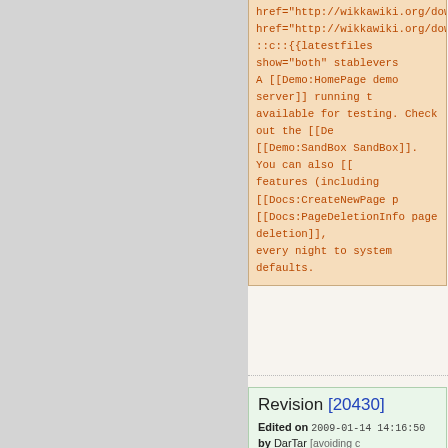href="http://wikkawiki.org/downloads/Wikk...
href="http://wikkawiki.org/downloads/Wikk...
::c::{{latestfiles show="both" stablevers...
A [[Demo:HomePage demo server]] running t...
available for testing. Check out the [[De...
[[Demo:SandBox SandBox]]. You can also [[...
features (including [[Docs:CreateNewPage ...
[[Docs:PageDeletionInfo page deletion]],
every night to system defaults.
Revision [20430]
Edited on 2009-01-14 14:16:50 by DarTar [avoiding c...
Additions:
""<div style="float:left; margin: 10px 0 ...
color:#FEE; border:1px solid #EDD">
<h4>Newsflash</h4>
<p>Announcing the release of <strong><a h...
</strong><br />